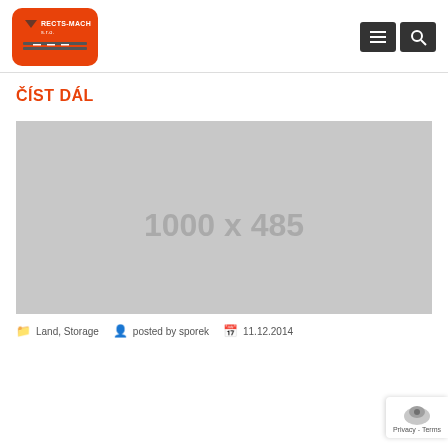RECTS-MACH s.r.o. logo with navigation menu and search icons
ČÍST DÁL
[Figure (illustration): Placeholder image showing dimensions 1000 x 485 on a grey background]
Land, Storage   posted by sporek   11.12.2014